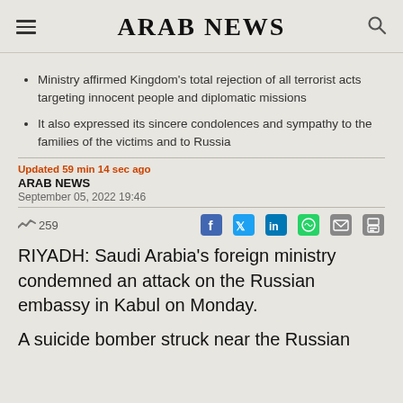ARAB NEWS
Ministry affirmed Kingdom's total rejection of all terrorist acts targeting innocent people and diplomatic missions
It also expressed its sincere condolences and sympathy to the families of the victims and to Russia
Updated 59 min 14 sec ago
ARAB NEWS
September 05, 2022 19:46
259
RIYADH: Saudi Arabia's foreign ministry condemned an attack on the Russian embassy in Kabul on Monday.
A suicide bomber struck near the Russian